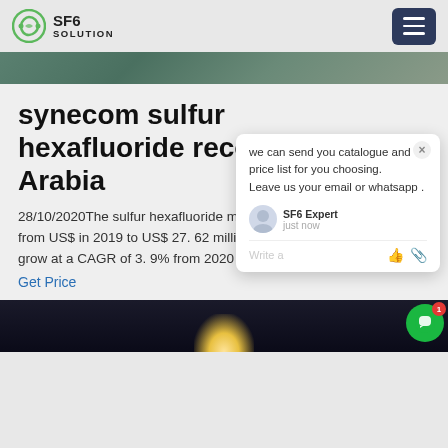SF6 SOLUTION
[Figure (photo): Top banner image showing workers or industrial environment]
synecom sulfur hexafluoride recov Saudi Arabia
28/10/2020The sulfur hexafluoride market MEA is expected to grow from US$ in 2019 to US$ 27. 62 million by 2027; it is estimated to grow at a CAGR of 3. 9% from 2020 to 2027. Various
Get Price
[Figure (screenshot): Chat popup overlay with message: we can send you catalogue and price list for you choosing. Leave us your email or whatsapp. SF6 Expert agent, just now, Write a message input area.]
[Figure (photo): Bottom dark image showing industrial structure with light]